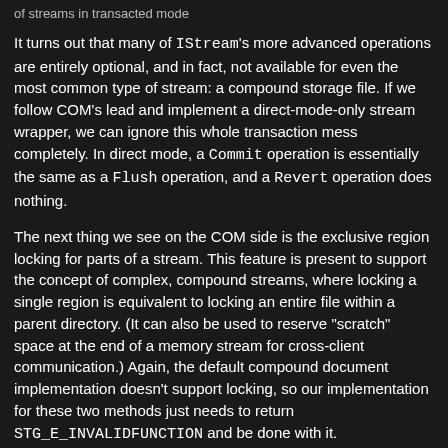of streams in transacted mode
It turns out that many of IStream's more advanced operations are entirely optional, and in fact, not available for even the most common type of stream: a compound storage file. If we follow COM's lead and implement a direct-mode-only stream wrapper, we can ignore this whole transaction mess completely. In direct mode, a Commit operation is essentially the same as a Flush operation, and a Revert operation does nothing.
The next thing we see on the COM side is the exclusive region locking for parts of a stream. This feature is present to support the concept of complex, compound streams, where locking a single region is equivalent to locking an entire file within a parent directory. (It can also be used to reserve "scratch" space at the end of a memory stream for cross-client communication.) Again, the default compound document implementation doesn't support locking, so our implementation for these two methods just needs to return STG_E_INVALIDFUNCTION and be done with it.
The last missing method really underscores the IStream's